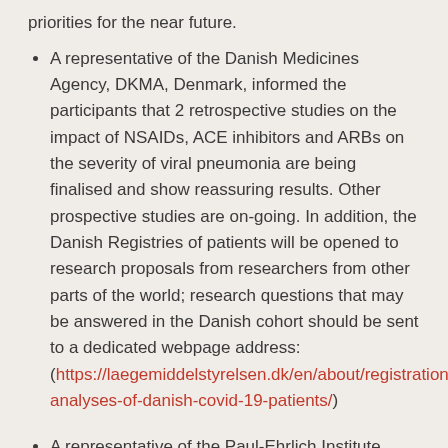priorities for the near future.
A representative of the Danish Medicines Agency, DKMA, Denmark, informed the participants that 2 retrospective studies on the impact of NSAIDs, ACE inhibitors and ARBs on the severity of viral pneumonia are being finalised and show reassuring results. Other prospective studies are on-going. In addition, the Danish Registries of patients will be opened to research proposals from researchers from other parts of the world; research questions that may be answered in the Danish cohort should be sent to a dedicated webpage address: (https://laegemiddelstyrelsen.dk/en/about/registration-analyses-of-danish-covid-19-patients/)
A representative of the Paul-Ehrlich Institute, Germany, informed the participants on research activities regarding antibodies from convalescent patients.